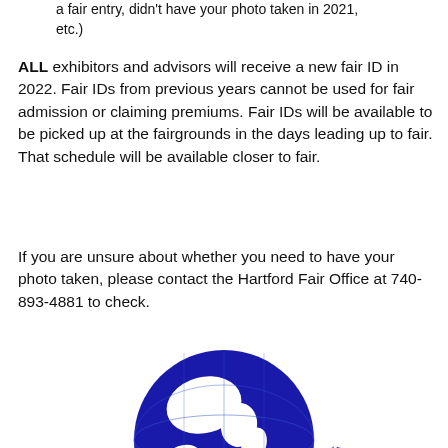a fair entry, didn't have your photo taken in 2021, etc.)
ALL exhibitors and advisors will receive a new fair ID in 2022. Fair IDs from previous years cannot be used for fair admission or claiming premiums. Fair IDs will be available to be picked up at the fairgrounds in the days leading up to fair. That schedule will be available closer to fair.
If you are unsure about whether you need to have your photo taken, please contact the Hartford Fair Office at 740-893-4881 to check.
[Figure (logo): The Hartford Fair logo — blue globe with a banner reading 'The Hartford Fair', stars on either side, text 'Croton, Ohio' and 'Est. 1858' on the banner ends, 'The [Greatest] Fair in the World' along the bottom]